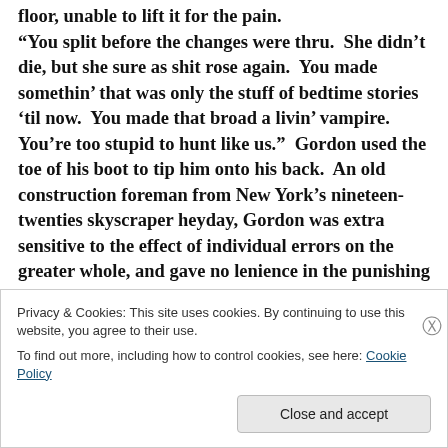floor, unable to lift it for the pain. “You split before the changes were thru.  She didn’t die, but she sure as shit rose again.  You made somethin’ that was only the stuff of bedtime stories ‘til now.  You made that broad a livin’ vampire.  You’re too stupid to hunt like us.”  Gordon used the toe of his boot to tip him onto his back.  An old construction foreman from New York’s nineteen-twenties skyscraper heyday, Gordon was extra sensitive to the effect of individual errors on the greater whole, and gave no lenience in the punishing of them.  “You ain’t
Privacy & Cookies: This site uses cookies. By continuing to use this website, you agree to their use.
To find out more, including how to control cookies, see here: Cookie Policy